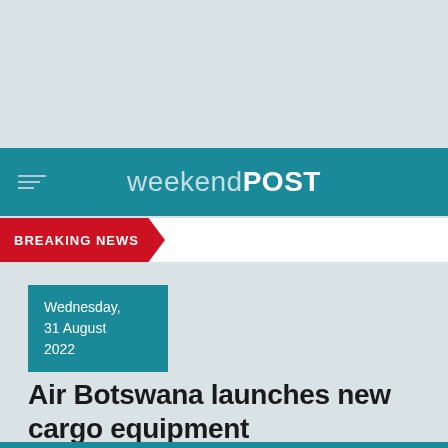weekendPOST
BREAKING NEWS
Wednesday, 31 August 2022
Air Botswana launches new cargo equipment